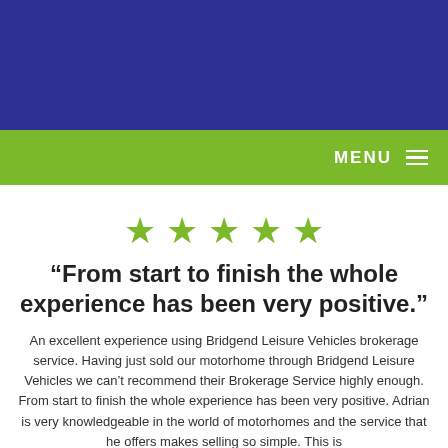MENU
[Figure (illustration): Five green star rating icons arranged in a row]
“From start to finish the whole experience has been very positive.”
An excellent experience using Bridgend Leisure Vehicles brokerage service. Having just sold our motorhome through Bridgend Leisure Vehicles we can’t recommend their Brokerage Service highly enough. From start to finish the whole experience has been very positive. Adrian is very knowledgeable in the world of motorhomes and the service that he offers makes selling so simple. This is